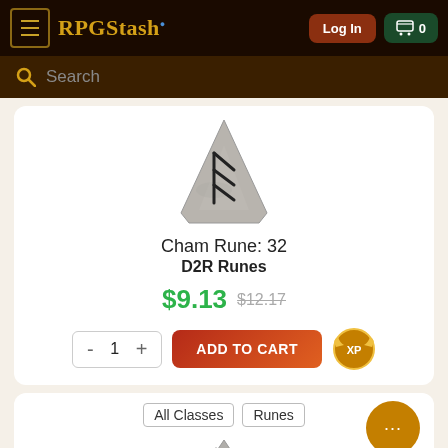RPGStash — Log In — Cart 0
Search
[Figure (photo): Cham Rune stone item image — a triangular grey stone with runic markings]
Cham Rune: 32
D2R Runes
$9.13 $12.17
- 1 + ADD TO CART
All Classes   Runes
[Figure (photo): Partial second rune item image at bottom of page]
-25%